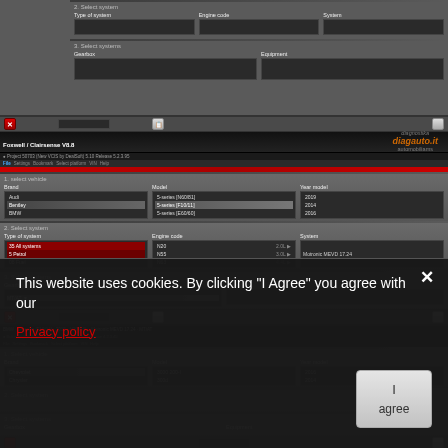[Figure (screenshot): Screenshot of Foxwell/Clairsense diagnostic software showing vehicle selection UI with brand, model, year model, system type, engine code, system, gearbox, and equipment dropdown fields. Brands visible include Audi, Bentley, BMW (with S-series models). Engine codes and system Motronic MEVD 17.24 shown. Second instance shows Chevrolet and Chrysler brands.]
This website uses cookies. By clicking "I Agree" you agree with our
Privacy policy
I agree